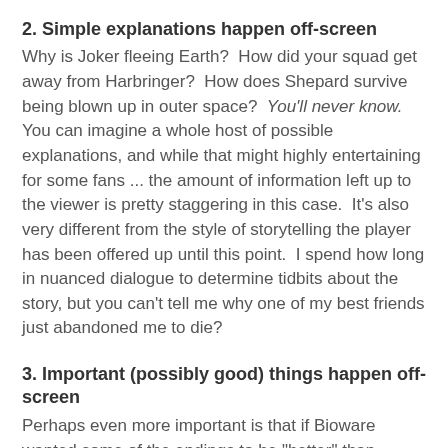2. Simple explanations happen off-screen
Why is Joker fleeing Earth?  How did your squad get away from Harbringer?  How does Shepard survive being blown up in outer space?  You'll never know.  You can imagine a whole host of possible explanations, and while that might highly entertaining for some fans ... the amount of information left up to the viewer is pretty staggering in this case.  It's also very different from the style of storytelling the player has been offered up until this point.  I spend how long in nuanced dialogue to determine tidbits about the story, but you can't tell me why one of my best friends just abandoned me to die?
3. Important (possibly good) things happen off-screen
Perhaps even more important is that if Bioware wanted some of the endings to be "better" than others, they take absolutely no time to make that apparent to the player.  Does controlling the Reapers mean that the Mass Effect relays might be re-built?  Or at least can everyone stuck on Sol get a lift home?  Does being a hybrid mean anything other than having glowing bits?  Does your love interest live happily ever after